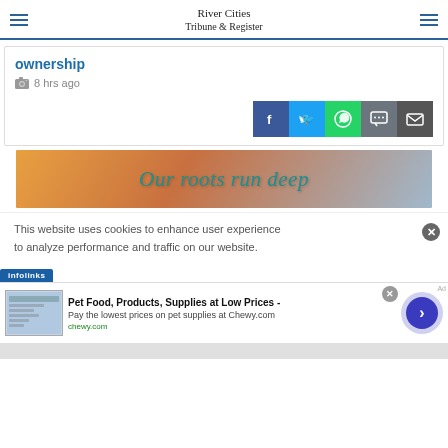River Cities Tribune & Register
ownership
8 hrs ago
[Figure (other): Social share buttons: Facebook, Twitter, WhatsApp, SMS, Email]
[Figure (other): Advertisement banner: 'Our roots run deep' with orange/teal gradient background]
This website uses cookies to enhance user experience to analyze performance and traffic on our website.
[Figure (other): Infolinks advertisement label bar]
[Figure (other): Advertisement: Pet Food, Products, Supplies at Low Prices - Pay the lowest prices on pet supplies at Chewy.com - chewy.com]